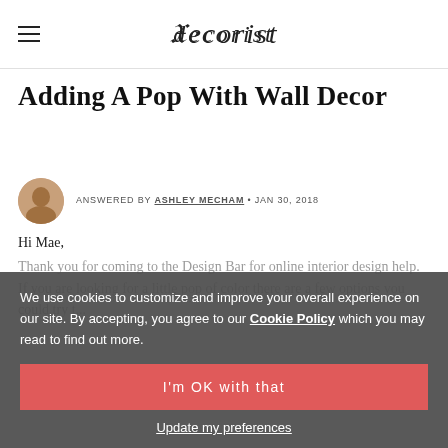decorist
Adding A Pop With Wall Decor
ANSWERED BY ASHLEY MECHAM · JAN 30, 2018
Hi Mae,
Thank you for coming to the Design Bar for online interior design help. If you are looking for a little pop of color there are a few options you could try t...
We use cookies to customize and improve your overall experience on our site. By accepting, you agree to our Cookie Policy which you may read to find out more.
I'm OK with that
Update my preferences